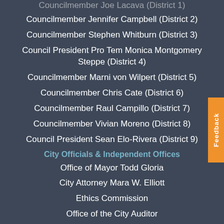Councilmember Joe Lacava (District 1)
Councilmember Jennifer Campbell (District 2)
Councilmember Stephen Whitburn (District 3)
Council President Pro Tem Monica Montgomery Steppe (District 4)
Councilmember Marni von Wilpert (District 5)
Councilmember Chris Cate (District 6)
Councilmember Raul Campillo (District 7)
Councilmember Vivian Moreno (District 8)
Council President Sean Elo-Rivera (District 9)
City Officials & Independent Offices
Office of Mayor Todd Gloria
City Attorney Mara W. Elliott
Ethics Commission
Office of the City Auditor
Office of the City Clerk